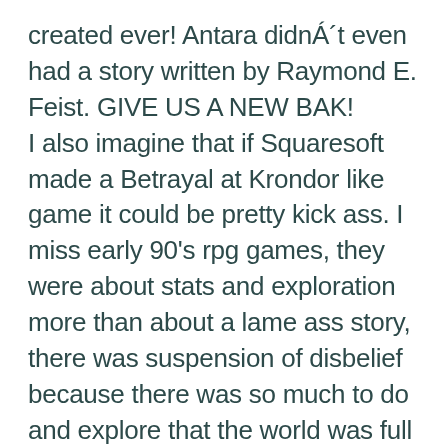created ever! Antara didnÁ´t even had a story written by Raymond E. Feist. GIVE US A NEW BAK! I also imagine that if Squaresoft made a Betrayal at Krondor like game it could be pretty kick ass. I miss early 90's rpg games, they were about stats and exploration more than about a lame ass story, there was suspension of disbelief because there was so much to do and explore that the world was full of mysteries your imagination had to fill up (and sometimes the game provided you with some answers, but usualy these led to more questions, a la Tolkien and the